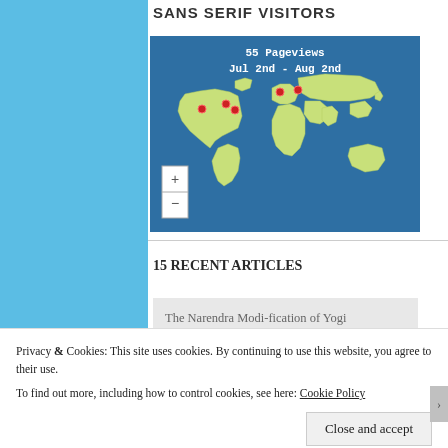SANS SERIF VISITORS
[Figure (map): World map showing 55 Pageviews from Jul 2nd - Aug 2nd with red dot markers on various locations including North America and Europe/Asia regions. Includes zoom + and - controls.]
15 RECENT ARTICLES
The Narendra Modi-fication of Yogi Adityanath: how an ad blitz has the media
Privacy & Cookies: This site uses cookies. By continuing to use this website, you agree to their use.
To find out more, including how to control cookies, see here: Cookie Policy
Close and accept